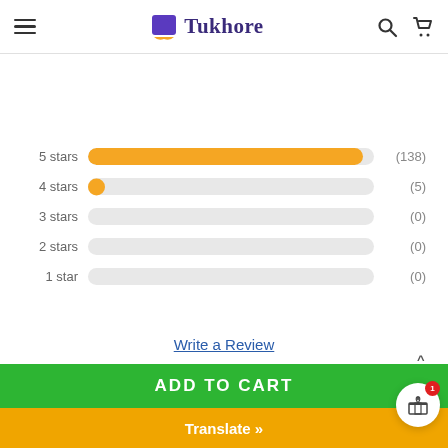Tukhore - header with hamburger menu, search, and cart icons
[Figure (bar-chart): Star ratings distribution]
Write a Review
TOP
ADD TO CART
Translate »